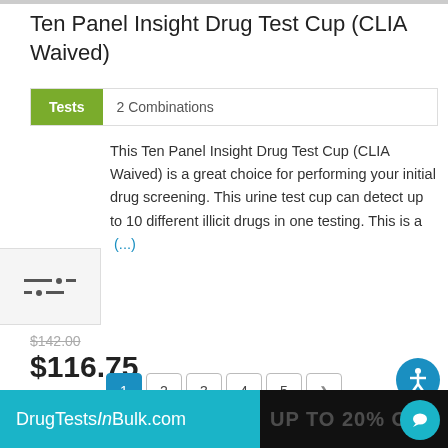Ten Panel Insight Drug Test Cup (CLIA Waived)
Tests   2 Combinations
This Ten Panel Insight Drug Test Cup (CLIA Waived) is a great choice for performing your initial drug screening. This urine test cup can detect up to 10 different illicit drugs in one testing. This is a (...)
$142.00
$116.75
Per case of 25
As low as: $3.67 each
1 2 3 4 5 >
DrugTestsInBulk.com   UP TO 20% OFF